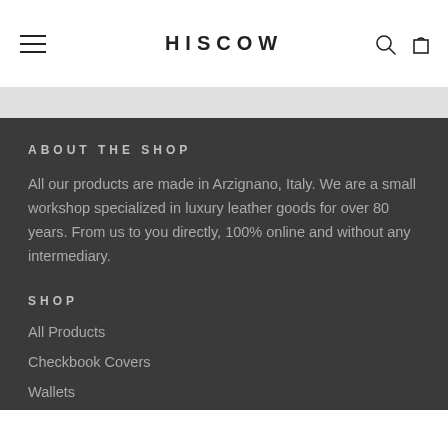HISCOW
ABOUT THE SHOP
All our products are made in Arzignano, Italy. We are a small workshop specialized in luxury leather goods for over 80 years. From us to you directly, 100% online and without any intermediary.
SHOP
All Products
Checkbook Covers
Wallets